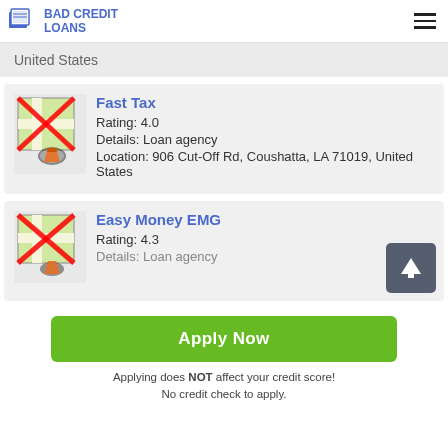BAD CREDIT LOANS
United States
Fast Tax
Rating: 4.0
Details: Loan agency
Location: 906 Cut-Off Rd, Coushatta, LA 71019, United States
Easy Money EMG
Rating: 4.3
Details: Loan agency
Apply Now
Applying does NOT affect your credit score!
No credit check to apply.